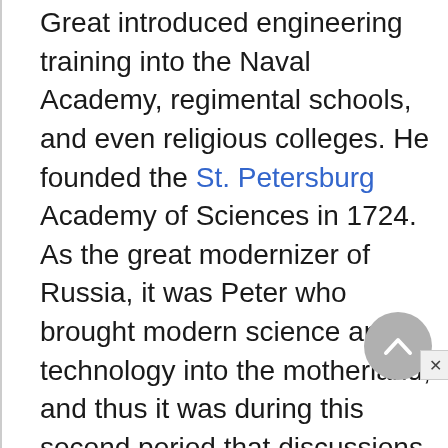Great introduced engineering training into the Naval Academy, regimental schools, and even religious colleges. He founded the St. Petersburg Academy of Sciences in 1724. As the great modernizer of Russia, it was Peter who brought modern science and technology into the motherland, and thus it was during this second period that discussions relevant to science, technology, and ethics increasingly came to the fore.